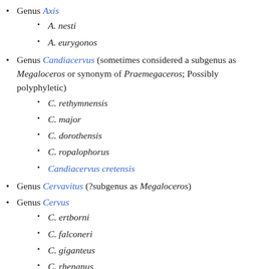Genus Axis
A. nesti
A. eurygonos
Genus Candiacervus (sometimes considered a subgenus as Megaloceros or synonym of Praemegaceros; Possibly polyphyletic)
C. rethymnensis
C. major
C. dorothensis
C. ropalophorus
Candiacervus cretensis
Genus Cervavitus (?subgenus as Megaloceros)
Genus Cervus
C. ertborni
C. falconeri
C. giganteus
C. rhenanus
C. lascrucensis
Genus Craizetoceros[81]